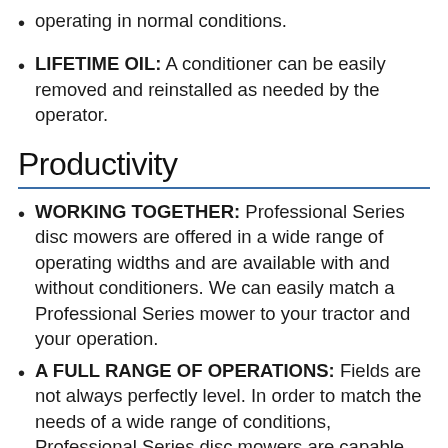operating in normal conditions.
LIFETIME OIL: A conditioner can be easily removed and reinstalled as needed by the operator.
Productivity
WORKING TOGETHER: Professional Series disc mowers are offered in a wide range of operating widths and are available with and without conditioners. We can easily match a Professional Series mower to your tractor and your operation.
A FULL RANGE OF OPERATIONS: Fields are not always perfectly level. In order to match the needs of a wide range of conditions, Professional Series disc mowers are capable